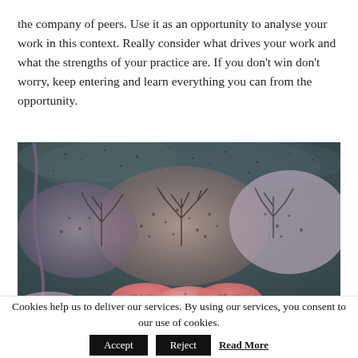the company of peers. Use it as an opportunity to analyse your work in this context. Really consider what drives your work and what the strengths of your practice are. If you don't win don't worry, keep entering and learn everything you can from the opportunity.
[Figure (illustration): A surrealist or fantasy painting depicting organic, mushroom-like or creature forms in muted purples, grays, and pinks with small dotted or spotted textures and branch-like patterns against a dark teal/gray background. The lower portion shows pink, scalloped forms resembling petals or shells.]
Cookies help us to deliver our services. By using our services, you consent to our use of cookies. Accept  Reject  Read More